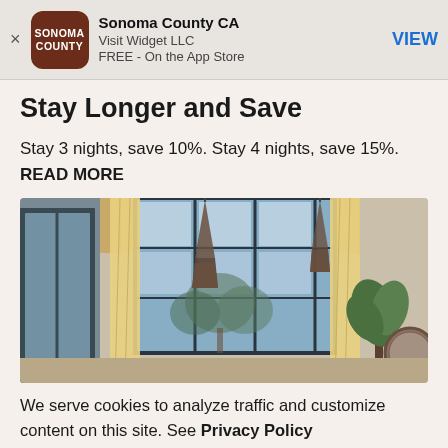Sonoma County CA | Visit Widget LLC | FREE - On the App Store | VIEW
Stay Longer and Save
Stay 3 nights, save 10%. Stay 4 nights, save 15%. READ MORE
[Figure (photo): Interior room photo showing a modern hotel or rental room with floor-to-ceiling windows, yellow curtains, hanging geometric pendant lights, a tropical plant, and a round mirror on the wall. Natural light comes through the large windows showing trees outside.]
We serve cookies to analyze traffic and customize content on this site. See Privacy Policy